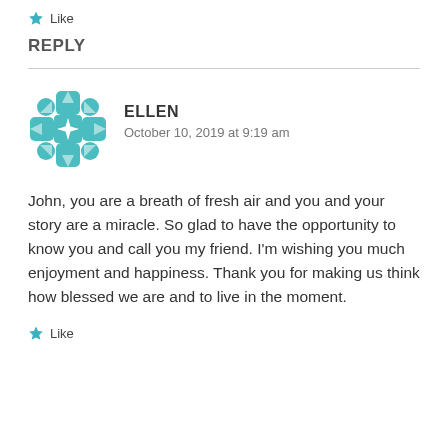Like
REPLY
ELLEN
October 10, 2019 at 9:19 am
John, you are a breath of fresh air and you and your story are a miracle. So glad to have the opportunity to know you and call you my friend. I'm wishing you much enjoyment and happiness. Thank you for making us think how blessed we are and to live in the moment.
Like